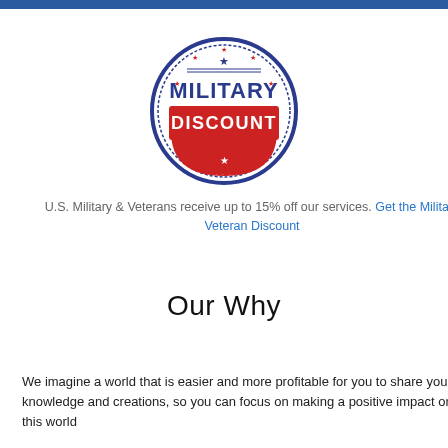[Figure (logo): Military Discount circular stamp badge with blue border, red banner with 'DISCOUNT' in white, 'MILITARY' in blue text, stars around the border, and a star at the top center]
U.S. Military & Veterans receive up to 15% off our services. Get the Military Veteran Discount
Our Why
We imagine a world that is easier and more profitable for you to share your knowledge and creations, so you can focus on making a positive impact on this world